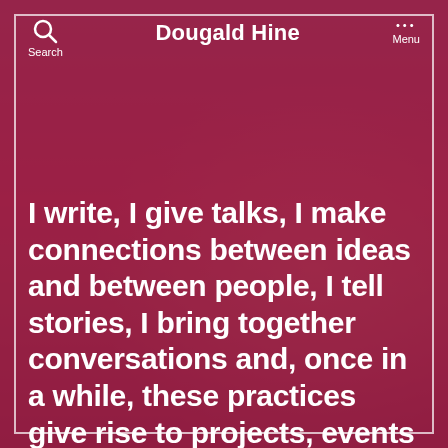Dougald Hine
I write, I give talks, I make connections between ideas and between people, I tell stories, I bring together conversations and, once in a while, these practices give rise to projects, events and organisations.
[Figure (photo): Background photo of a person standing outdoors in a garden/yard with chairs and trees, overlaid with a dark red/crimson tint. The image serves as the background of a website screenshot for Dougald Hine.]